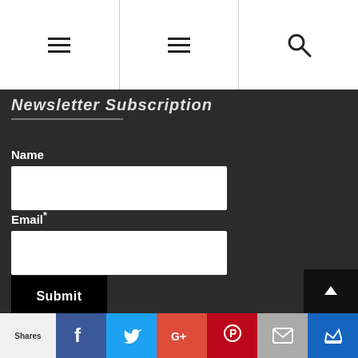Navigation bar with hamburger menus and search icon
Newsletter Subscription
Name
[Figure (screenshot): Text input field for Name]
Email*
[Figure (screenshot): Text input field for Email]
Submit
Shares | Facebook | Twitter | Google+ | Pinterest | Email | Crown